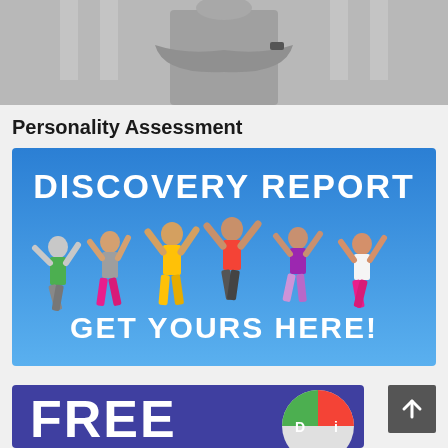[Figure (photo): Black and white photo of a person with arms crossed, chess pieces visible in background]
Personality Assessment
[Figure (illustration): Discovery Report banner with blue background showing six people jumping with arms raised, text reads DISCOVERY REPORT and GET YOURS HERE!]
[Figure (illustration): Partial banner showing FREE text in white on purple/blue background with a DISC pie chart graphic showing D and i segments in green and red]